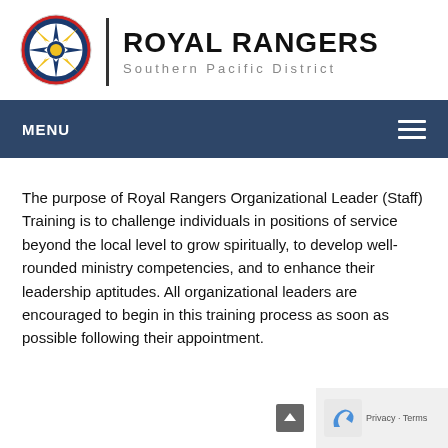[Figure (logo): Royal Rangers compass star logo in a red circle with blue and yellow star design]
ROYAL RANGERS Southern Pacific District
MENU
The purpose of Royal Rangers Organizational Leader (Staff) Training is to challenge individuals in positions of service beyond the local level to grow spiritually, to develop well-rounded ministry competencies, and to enhance their leadership aptitudes. All organizational leaders are encouraged to begin in this training process as soon as possible following their appointment.